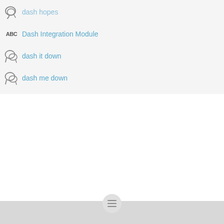dash hopes
Dash Integration Module
dash it down
dash me down